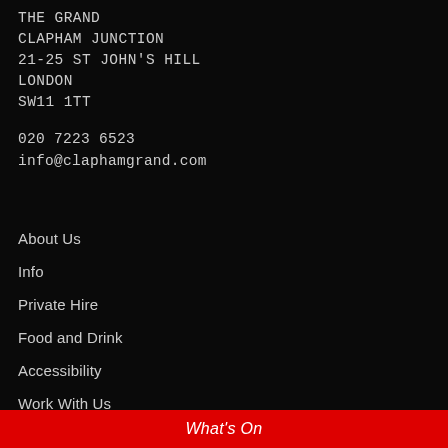THE GRAND
CLAPHAM JUNCTION
21-25 ST JOHN'S HILL
LONDON
SW11 1TT
020 7223 6523
info@claphamgrand.com
About Us
Info
Private Hire
Food and Drink
Accessibility
Work With Us
Covid Safety
Contact Us
What's On